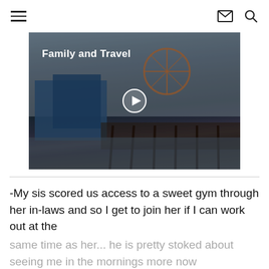≡  ✉  🔍
[Figure (screenshot): Video thumbnail showing a pier (Santa Monica Pier) with a ferris wheel, amusement rides, and ocean in the background. A white play button triangle is centered on the image. Text overlay reads 'Family and Travel'.]
-My sis scored us access to a sweet gym through her in-laws and so I get to join her if I can work out at the same time as her... he is pretty stoked about seeing me in the mornings more now (emergency stop is off on